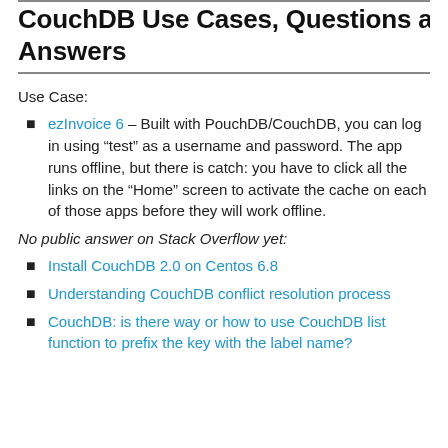CouchDB Use Cases, Questions and Answers
Use Case:
ezInvoice 6 – Built with PouchDB/CouchDB, you can log in using “test” as a username and password. The app runs offline, but there is catch: you have to click all the links on the “Home” screen to activate the cache on each of those apps before they will work offline.
No public answer on Stack Overflow yet:
Install CouchDB 2.0 on Centos 6.8
Understanding CouchDB conflict resolution process
CouchDB: is there way or how to use CouchDB list function to prefix the key with the label name?